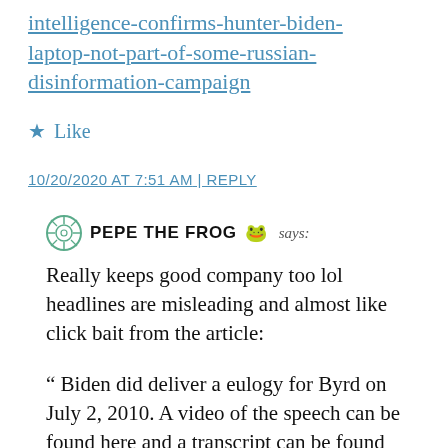intelligence-confirms-hunter-biden-laptop-not-part-of-some-russian-disinformation-campaign
Like
10/20/2020 AT 7:51 AM | REPLY
PEPE THE FROG says:
Really keeps good company too lol headlines are misleading and almost like click bait from the article:
“ Biden did deliver a eulogy for Byrd on July 2, 2010. A video of the speech can be found here and a transcript can be found here